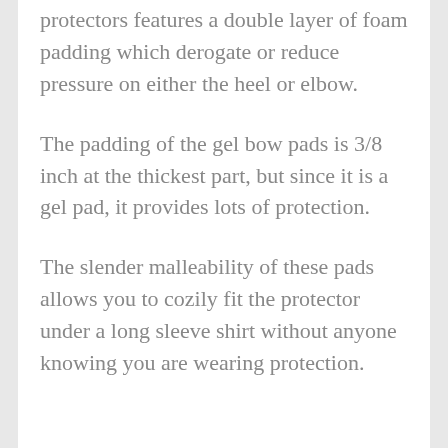protectors features a double layer of foam padding which derogate or reduce pressure on either the heel or elbow.
The padding of the gel bow pads is 3/8 inch at the thickest part, but since it is a gel pad, it provides lots of protection.
The slender malleability of these pads allows you to cozily fit the protector under a long sleeve shirt without anyone knowing you are wearing protection.